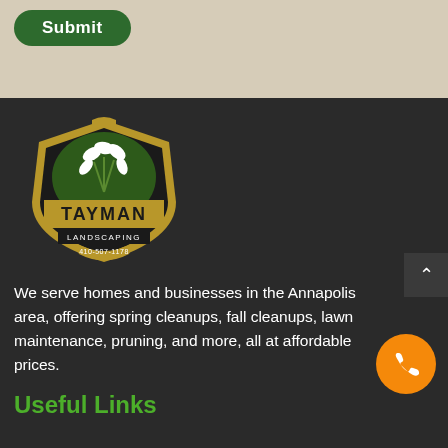[Figure (other): Submit button on beige/tan background section]
[Figure (logo): Tayman Landscaping logo — shield shape with gold border, dark background, white flower/plant illustration, text TAYMAN LANDSCAPING 410-507-1178]
We serve homes and businesses in the Annapolis area, offering spring cleanups, fall cleanups, lawn maintenance, pruning, and more, all at affordable prices.
Useful Links